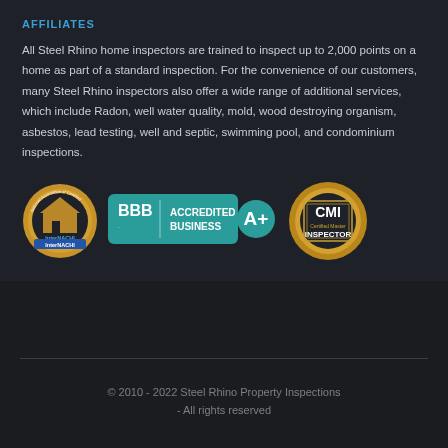AFFILIATES
All Steel Rhino home inspectors are trained to inspect up to 2,000 points on a home as part of a standard inspection. For the convenience of our customers, many Steel Rhino inspectors also offer a wide range of additional services, which include Radon, well water quality, mold, wood destroying organism, asbestos, lead testing, well and septic, swimming pool, and condominium inspections.
[Figure (logo): InterNACHI Certified member badge - gold circular badge]
[Figure (logo): BBB Accredited Business A+ rating badge - teal rectangle with BBB logo and A+ circle]
[Figure (logo): CMI Certified Master Inspector gold badge]
© 2010 - 2022 Steel Rhino Property Inspections - All rights reserved